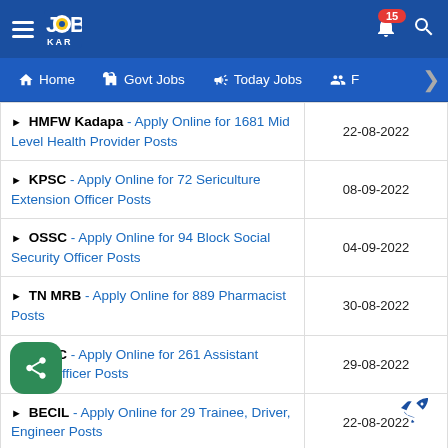JOBS KAR - Home | Govt Jobs | Today Jobs
HMFW Kadapa - Apply Online for 1681 Mid Level Health Provider Posts | 22-08-2022
KPSC - Apply Online for 72 Sericulture Extension Officer Posts | 08-09-2022
OSSC - Apply Online for 94 Block Social Security Officer Posts | 04-09-2022
TN MRB - Apply Online for 889 Pharmacist Posts | 30-08-2022
OPSC - Apply Online for 261 Assistant Agricultural Officer Posts | 29-08-2022
BECIL - Apply Online for 29 Trainee, Driver, Engineer Posts | 22-08-2022